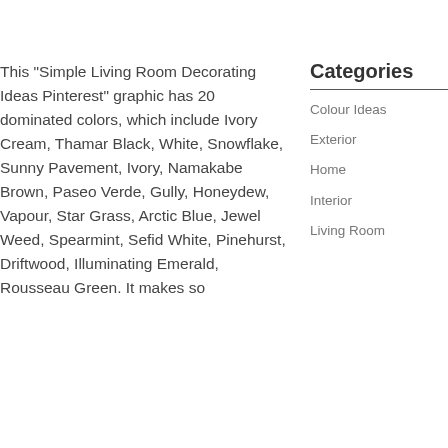This "Simple Living Room Decorating Ideas Pinterest" graphic has 20 dominated colors, which include Ivory Cream, Thamar Black, White, Snowflake, Sunny Pavement, Ivory, Namakabe Brown, Paseo Verde, Gully, Honeydew, Vapour, Star Grass, Arctic Blue, Jewel Weed, Spearmint, Sefid White, Pinehurst, Driftwood, Illuminating Emerald, Rousseau Green. It makes so
Categories
Colour Ideas
Exterior
Home
Interior
Living Room